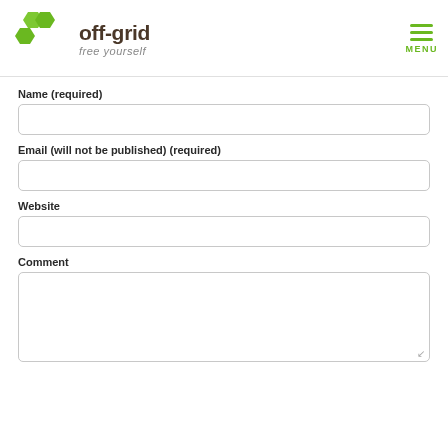[Figure (logo): Off-grid free yourself logo with green hexagon shapes and text]
Name (required)
Email (will not be published) (required)
Website
Comment